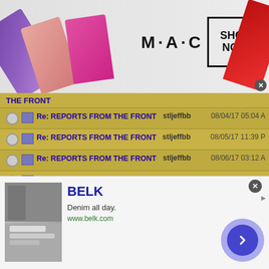[Figure (screenshot): MAC Cosmetics advertisement banner with lipsticks and SHOP NOW button]
Re: REPORTS FROM THE FRONT — stljeffbb — 08/04/17 05:04 AM
Re: REPORTS FROM THE FRONT — stljeffbb — 08/05/17 11:39 PM
Re: REPORTS FROM THE FRONT — stljeffbb — 08/06/17 03:12 AM
Re: REPORTS FROM THE FRONT — Robert_Wiggins — 08/06/17 01:11 PM
Re: REPORTS FROM THE FRONT — stljeffbb — 08/06/17 02:16 PM
Re: REPORTS FROM THE FRONT — Robert_Wiggins — 08/06/17 02:25 PM
[Figure (screenshot): BELK advertisement — Denim all day. www.belk.com with navigation arrow]